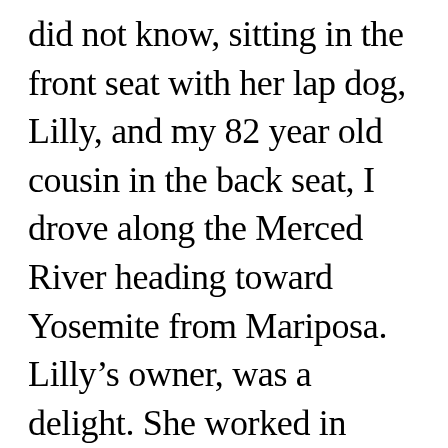did not know, sitting in the front seat with her lap dog, Lilly, and my 82 year old cousin in the back seat, I drove along the Merced River heading toward Yosemite from Mariposa. Lilly's owner, was a delight. She worked in Yosemite for many years, knew my great grandmother very well. Lilly's owner knew everybody in Yosemite because she worked in the Yosemite post office. In fact, as